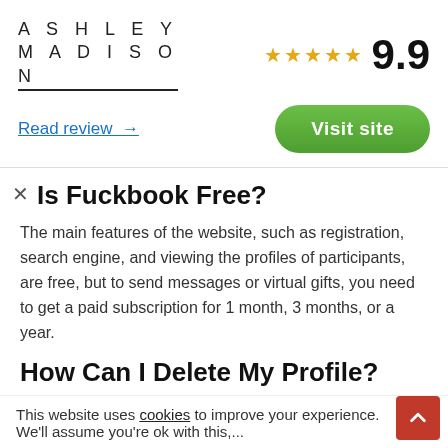[Figure (logo): Ashley Madison brand logo text in spaced uppercase letters with underline beneath the N in MADISON]
[Figure (infographic): Five gold stars rating followed by large bold number 9.9]
Read review →
Visit site
Is Fuckbook Free?
The main features of the website, such as registration, search engine, and viewing the profiles of participants, are free, but to send messages or virtual gifts, you need to get a paid subscription for 1 month, 3 months, or a year.
How Can I Delete My Profile?
You can delete your page from the site at any time.
This website uses cookies to improve your experience. We'll assume you're ok with this,...